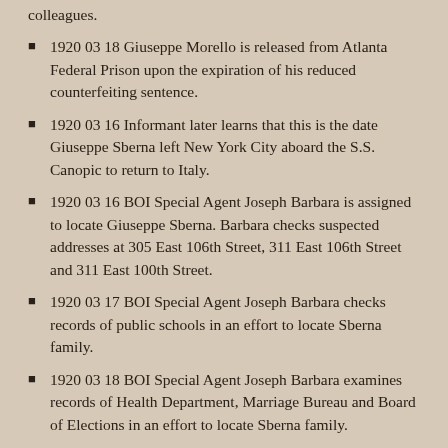colleagues.
1920 03 18 Giuseppe Morello is released from Atlanta Federal Prison upon the expiration of his reduced counterfeiting sentence.
1920 03 16 Informant later learns that this is the date Giuseppe Sberna left New York City aboard the S.S. Canopic to return to Italy.
1920 03 16 BOI Special Agent Joseph Barbara is assigned to locate Giuseppe Sberna. Barbara checks suspected addresses at 305 East 106th Street, 311 East 106th Street and 311 East 100th Street.
1920 03 17 BOI Special Agent Joseph Barbara checks records of public schools in an effort to locate Sberna family.
1920 03 18 BOI Special Agent Joseph Barbara examines records of Health Department, Marriage Bureau and Board of Elections in an effort to locate Sberna family.
1920 03 19 BOI Special Agent Joseph Barbara visits Franklin Press Union No. 23 in an effort to locate